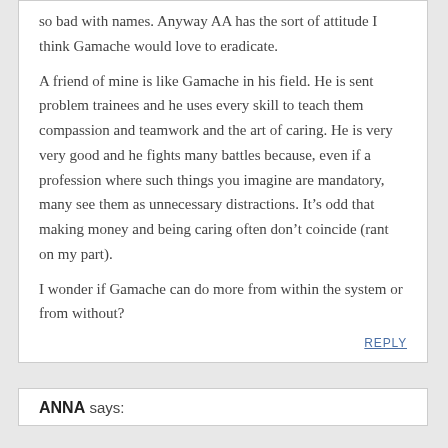so bad with names. Anyway AA has the sort of attitude I think Gamache would love to eradicate.

A friend of mine is like Gamache in his field. He is sent problem trainees and he uses every skill to teach them compassion and teamwork and the art of caring. He is very very good and he fights many battles because, even if a profession where such things you imagine are mandatory, many see them as unnecessary distractions. It’s odd that making money and being caring often don’t coincide (rant on my part).

I wonder if Gamache can do more from within the system or from without?
REPLY
ANNA says: